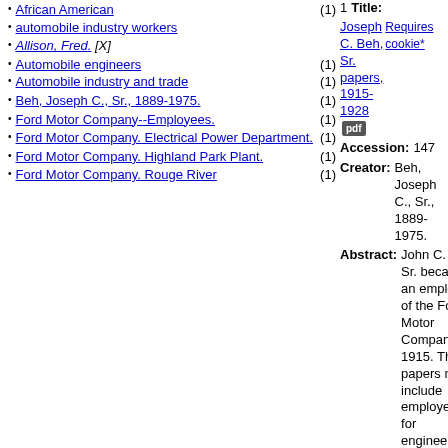African American (1)
automobile industry workers (1)
Allison, Fred. [X]
Automobile engineers (1)
Automobile industry and trade (1)
Beh, Joseph C., Sr., 1889-1975. (1)
Ford Motor Company--Employees. (1)
Ford Motor Company. Electrical Power Department. (1)
Ford Motor Company. Highland Park Plant. (1)
Ford Motor Company. Rouge River (1)
Title: Joseph C. Beh, Sr. papers, 1915-1928 [pdf] Requires cookie*
Accession: 147
Creator: Beh, Joseph C., Sr., 1889-1975.
Abstract: John C. Beh Sr. became an employee of the Ford Motor Company in 1915. These papers mostly include employee lists for engineering and power plant related departments and other miscellaneous documents relating to his employment.
Subjects: Beh, Joseph